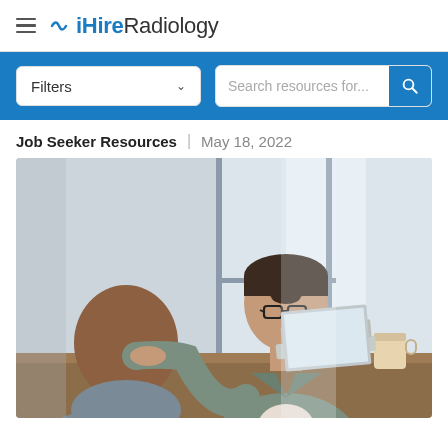iHireRadiology
Filters | Search resources for...
Job Seeker Resources | May 18, 2022
[Figure (photo): Two professionals having a meeting at a table. A woman wearing glasses and a grey blazer is talking across the table to a man. A laptop is open on the table between them, and a coffee cup is visible on the right side.]